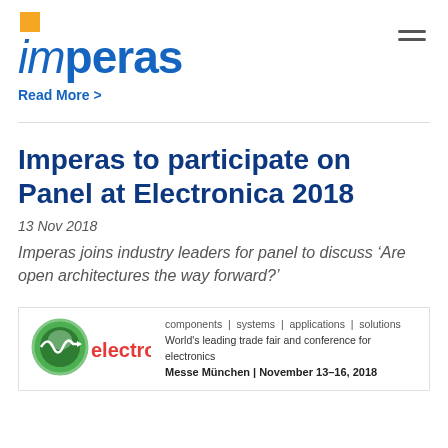imperas
Read More >
Imperas to participate on Panel at Electronica 2018
13 Nov 2018
Imperas joins industry leaders for panel to discuss ‘Are open architectures the way forward?’
[Figure (logo): Electronica trade fair logo with green circular icon and red 'electronica' text, alongside tagline: components | systems | applications | solutions, World's leading trade fair and conference for electronics, Messe München | November 13–16, 2018]